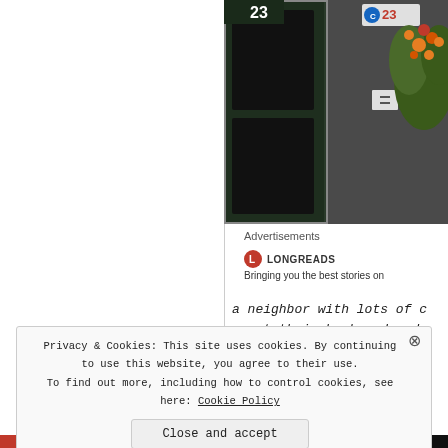[Figure (photo): Photograph showing a doorway or entrance with the number 23 visible; dark green/grey tones with a plant with orange flowers on the right side]
Advertisements
[Figure (logo): Longreads logo (red circular icon with L) and text: Longreads - Bringing you the best stories on...]
a neighbor with lots of c
at their backyard and
Privacy & Cookies: This site uses cookies. By continuing to use this website, you agree to their use. To find out more, including how to control cookies, see here: Cookie Policy
Close and accept